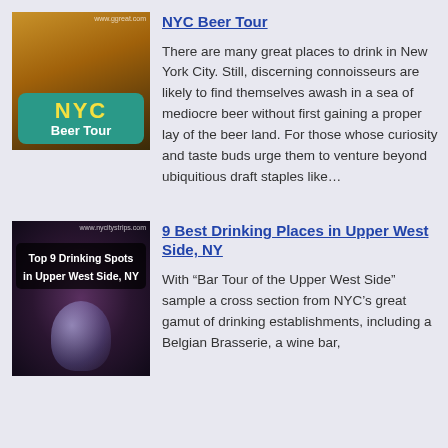[Figure (photo): NYC Beer Tour thumbnail image showing a beer mug on a bar counter with a teal badge overlay reading NYC Beer Tour]
NYC Beer Tour
There are many great places to drink in New York City. Still, discerning connoisseurs are likely to find themselves awash in a sea of mediocre beer without first gaining a proper lay of the beer land. For those whose curiosity and taste buds urge them to venture beyond ubiquitious draft staples like…
[Figure (photo): Top 9 Drinking Spots in Upper West Side NY thumbnail showing a cocktail glass with dark bokeh background and text overlay]
9 Best Drinking Places in Upper West Side, NY
With “Bar Tour of the Upper West Side” sample a cross section from NYC’s great gamut of drinking establishments, including a Belgian Brasserie, a wine bar,